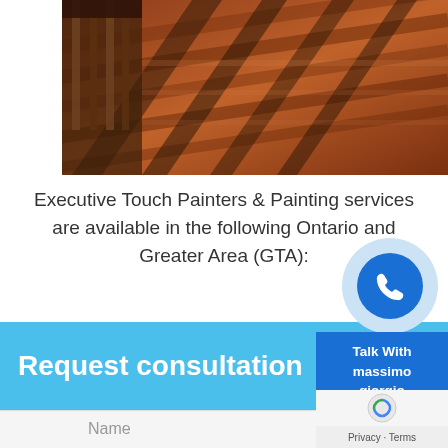[Figure (photo): Photo of a wooden deck with shadow patterns cast through iron railing, warm reddish-brown tones]
Executive Touch Painters & Painting services are available in the following Ontario and Greater Area (GTA):
Request consultation
Name
Talk With massimo giorgio giorgio
Privacy · Terms